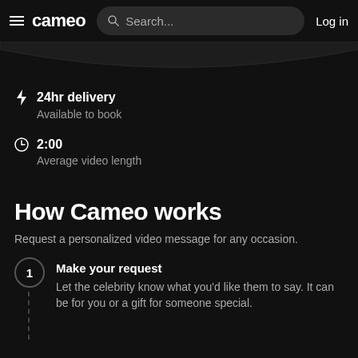cameo  Search...  Log in
24hr delivery
Available to book
2:00
Average video length
How Cameo works
Request a personalized video message for any occasion.
1  Make your request
Let the celebrity know what you'd like them to say. It can be for you or a gift for someone special.